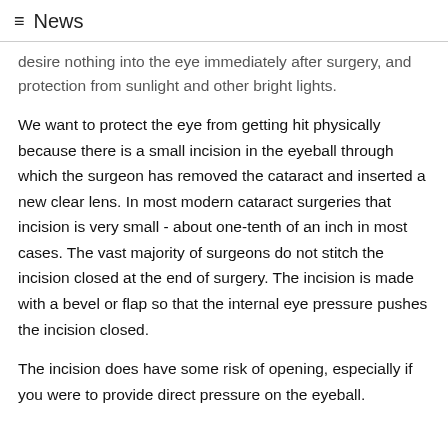≡ News
desire nothing into the eye immediately after surgery, and protection from sunlight and other bright lights.
We want to protect the eye from getting hit physically because there is a small incision in the eyeball through which the surgeon has removed the cataract and inserted a new clear lens. In most modern cataract surgeries that incision is very small - about one-tenth of an inch in most cases. The vast majority of surgeons do not stitch the incision closed at the end of surgery. The incision is made with a bevel or flap so that the internal eye pressure pushes the incision closed.
The incision does have some risk of opening, especially if you were to provide direct pressure on the eyeball.